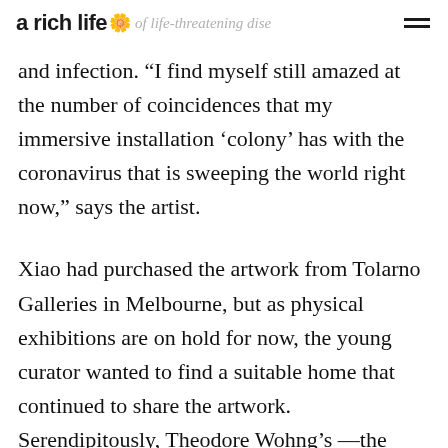a rich life 🌸 of life-threatening disease
and infection. “I find myself still amazed at the number of coincidences that my immersive installation ‘colony’ has with the coronavirus that is sweeping the world right now,” says the artist.
Xiao had purchased the artwork from Tolarno Galleries in Melbourne, but as physical exhibitions are on hold for now, the young curator wanted to find a suitable home that continued to share the artwork. Serendipitously, Theodore Wohng’s —the